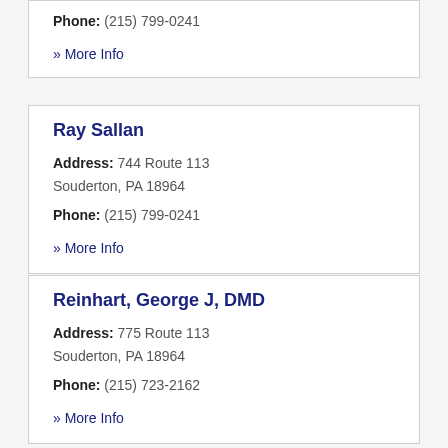Phone: (215) 799-0241
» More Info
Ray Sallan
Address: 744 Route 113
Souderton, PA 18964
Phone: (215) 799-0241
» More Info
Reinhart, George J, DMD
Address: 775 Route 113
Souderton, PA 18964
Phone: (215) 723-2162
» More Info